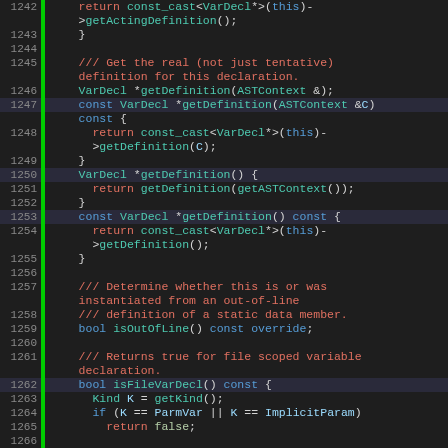[Figure (screenshot): C++ source code viewer showing lines 1242-1268, with line numbers on the left, a green vertical bar separator, and syntax-highlighted code on dark background. Colors: orange/red for return keywords and comments, teal for types, blue for keywords, light blue for identifiers.]